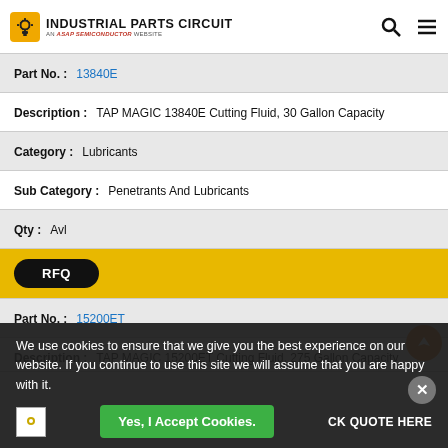INDUSTRIAL PARTS CIRCUIT — An ASAP Semiconductor Website
| Field | Value |
| --- | --- |
| Part No. : | 13840E |
| Description : | TAP MAGIC 13840E Cutting Fluid, 30 Gallon Capacity |
| Category : | Lubricants |
| Sub Category : | Penetrants And Lubricants |
| Qty : | Avl |
RFQ
| Field | Value |
| --- | --- |
| Part No. : | 15200ET |
| Description : | TAP MAGIC 15200ET Cutting Fluid, 275 Gallon Capacity |
We use cookies to ensure that we give you the best experience on our website. If you continue to use this site we will assume that you are happy with it.
Yes, I Accept Cookies.
AS9120B, ISO 9001:2015, and FAA AC 0056B Accredited | CLICK QUOTE HERE